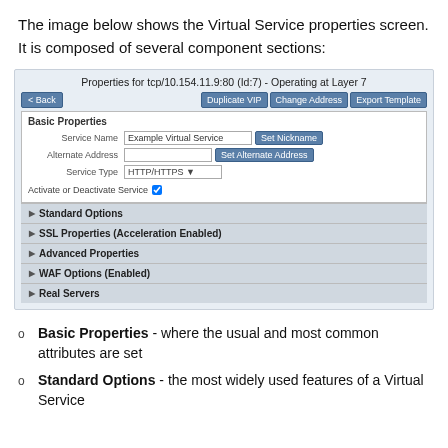The image below shows the Virtual Service properties screen.  It is composed of several component sections:
[Figure (screenshot): Screenshot of the Virtual Service properties screen showing 'Properties for tcp/10.154.11.9:80 (Id:7) - Operating at Layer 7' with Back button, Duplicate VIP, Change Address, Export Template buttons. Basic Properties section with Service Name 'Example Virtual Service', Set Nickname button, Alternate Address field, Set Alternate Address button, Service Type 'HTTP/HTTPS' dropdown, Activate or Deactivate Service checkbox. Collapsed sections: Standard Options, SSL Properties (Acceleration Enabled), Advanced Properties, WAF Options (Enabled), Real Servers.]
Basic Properties - where the usual and most common attributes are set
Standard Options - the most widely used features of a Virtual Service